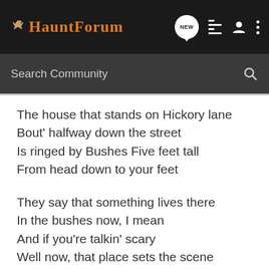HauntForum
The house that stands on Hickory lane
Bout' halfway down the street
Is ringed by Bushes Five feet tall
From head down to your feet
They say that something lives there
In the bushes now, I mean
And if you're talkin' scary
Well now, that place sets the scene
Now, I wont walk by past it
Least' ways not That side
I've heard growling in those bushes
From God knows what inside